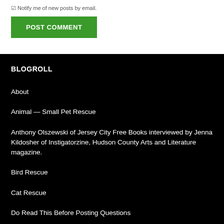Notify me of new posts by email.
POST COMMENT
BLOGROLL
About
Animal — Small Pet Rescue
Anthony Olszewski of Jersey City Free Books interviewed by Jenna Kildosher of Instigatorzine, Hudson County Arts and Literature magazine.
Bird Rescue
Cat Rescue
Do Read This Before Posting Questions